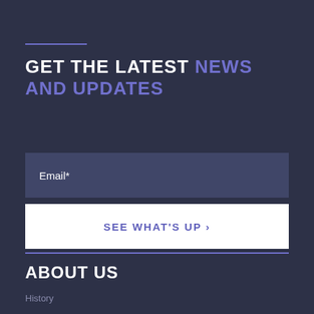GET THE LATEST NEWS AND UPDATES
Email*
SEE WHAT'S UP ›
ABOUT US
History